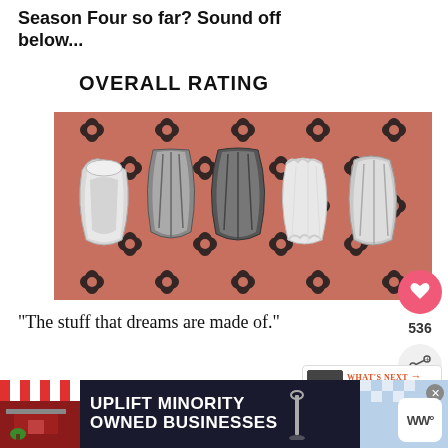Season Four so far? Sound off below...
OVERALL RATING
[Figure (photo): Five historical corsets arranged in a row on a salmon/pink patterned background with black floral/damask motifs. The corsets are various shades of white, grey, and black.]
“The stuff that dreams are made of.”
ROMANCE RATING
[Figure (screenshot): Advertisement bar at bottom: dark navy background with 'UPLIFT MINORITY OWNED BUSINESSES' text in white, flanked by a storefront illustration on the left and a checkered/blue image on the right with an X close button and WW logo.]